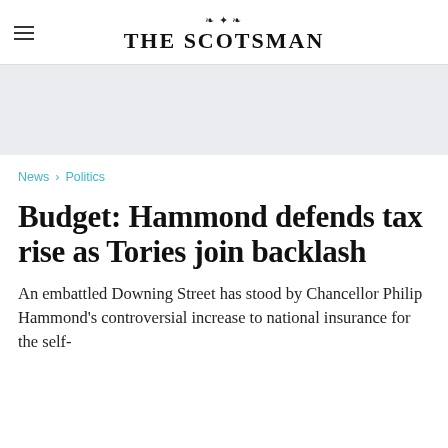THE SCOTSMAN
[Figure (other): Gray advertisement banner area]
News > Politics
Budget: Hammond defends tax rise as Tories join backlash
An embattled Downing Street has stood by Chancellor Philip Hammond's controversial increase to national insurance for the self-